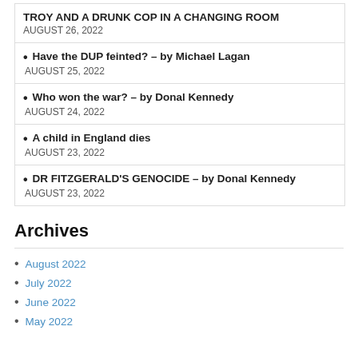TROY AND A DRUNK COP IN A CHANGING ROOM
AUGUST 26, 2022
Have the DUP feinted? – by Michael Lagan
AUGUST 25, 2022
Who won the war? – by Donal Kennedy
AUGUST 24, 2022
A child in England dies
AUGUST 23, 2022
DR FITZGERALD'S GENOCIDE – by Donal Kennedy
AUGUST 23, 2022
Archives
August 2022
July 2022
June 2022
May 2022